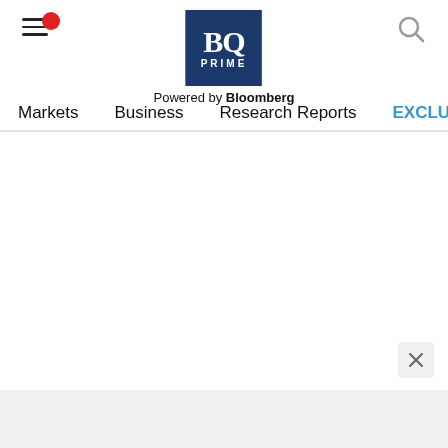[Figure (logo): BQ Prime logo — dark navy blue square with BQ in white serif font and PRIME in small caps below, with 'Powered by Bloomberg' text underneath]
Markets   Business   Research Reports   EXCLUSIVES   Economy
[Figure (other): Close (X) button in a rounded rectangle, bottom right corner]